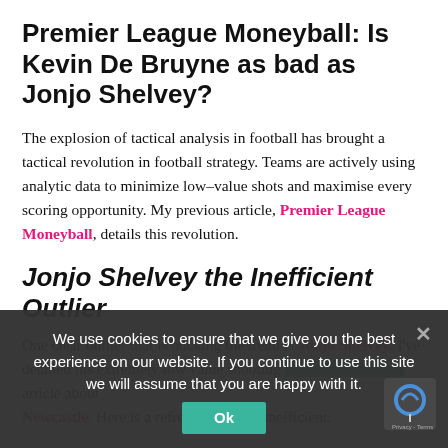Premier League Moneyball: Is Kevin De Bruyne as bad as Jonjo Shelvey?
The explosion of tactical analysis in football has brought a tactical revolution in football strategy. Teams are actively using analytic data to minimize low-value shots and maximise every scoring opportunity. My previous article, Premier League Moneyball, details this revolution.
Jonjo Shelvey the Inefficient Outlier
One clear outlier that is bucking the trend is Jonjo Shelvey. I've detailed his extremely low value shooting habits before in my article about Newcastle. Here is a refresher on how inefficient:
We use cookies to ensure that we give you the best experience on our website. If you continue to use this site we will assume that you are happy with it.